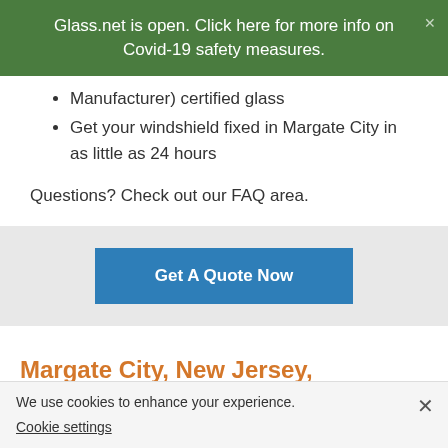Glass.net is open. Click here for more info on Covid-19 safety measures.
Manufacturer) certified glass
Get your windshield fixed in Margate City in as little as 24 hours
Questions? Check out our FAQ area.
[Figure (other): Blue 'Get A Quote Now' call-to-action button on a gray background]
Margate City, New Jersey, Windshield Repair Cost Information
We use cookies to enhance your experience.
Cookie settings